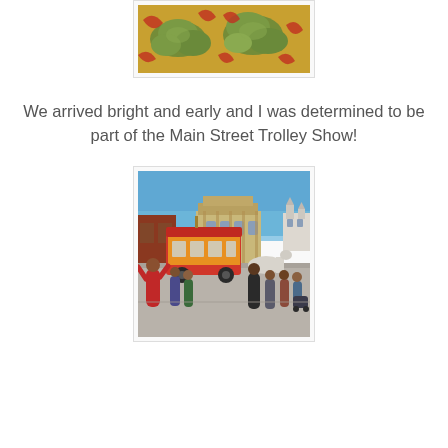[Figure (photo): Close-up photo of an ornate decorative surface with green leaf/cloud motifs on a yellow-gold background with red accents, appearing to be a carpet or tapestry detail.]
We arrived bright and early and I was determined to be part of the Main Street Trolley Show!
[Figure (photo): Outdoor photo at Disneyland/Disney park showing Main Street with a red and gold trolley, crowds of visitors, park buildings including a Victorian-style structure and a glimpse of the castle in the background, under a blue sky.]